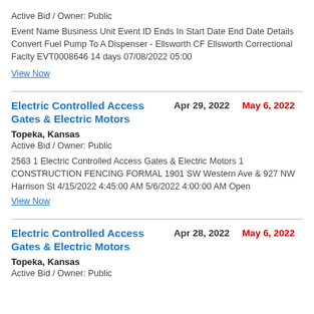Active Bid / Owner: Public
Event Name Business Unit Event ID Ends In Start Date End Date Details Convert Fuel Pump To A Dispenser - Ellsworth CF Ellsworth Correctional Faclty EVT0008646 14 days 07/08/2022 05:00
View Now
Electric Controlled Access Gates & Electric Motors   Apr 29, 2022   May 6, 2022
Topeka, Kansas
Active Bid / Owner: Public
2563 1 Electric Controlled Access Gates & Electric Motors 1 CONSTRUCTION FENCING FORMAL 1901 SW Western Ave & 927 NW Harrison St 4/15/2022 4:45:00 AM 5/6/2022 4:00:00 AM Open
View Now
Electric Controlled Access Gates & Electric Motors   Apr 28, 2022   May 6, 2022
Topeka, Kansas
Active Bid / Owner: Public